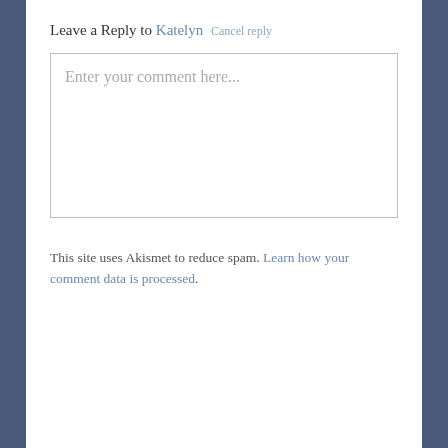Leave a Reply to Katelyn Cancel reply
[Figure (screenshot): Comment text area input box with placeholder text 'Enter your comment here...']
This site uses Akismet to reduce spam. Learn how your comment data is processed.